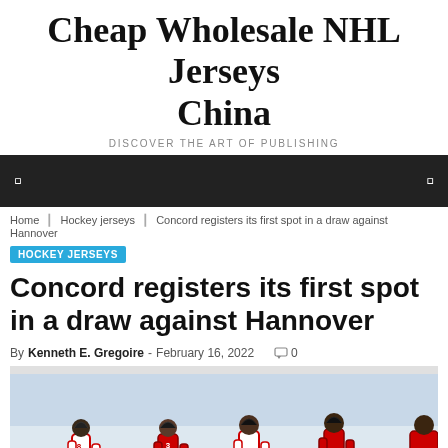Cheap Wholesale NHL Jerseys China
DISCOVER THE ART OF PUBLISHING
Navigation bar
Home / Hockey jerseys / Concord registers its first spot in a draw against Hannover
HOCKEY JERSEYS
Concord registers its first spot in a draw against Hannover
By Kenneth E. Gregoire - February 16, 2022  0
[Figure (photo): Hockey players in red and white uniforms skating and competing on ice]